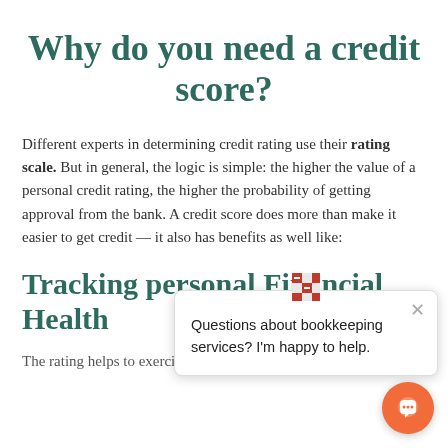Why do you need a credit score?
Different experts in determining credit rating use their rating scale. But in general, the logic is simple: the higher the value of a personal credit rating, the higher the probability of getting approval from the bank. A credit score does more than make it easier to get credit — it also has benefits as well like:
Tracking Personal Financial Health
The rating helps to exercise self-control over the
[Figure (screenshot): Chat popup overlay with bookkeeping services message and close button, plus orange chat button in bottom right corner]